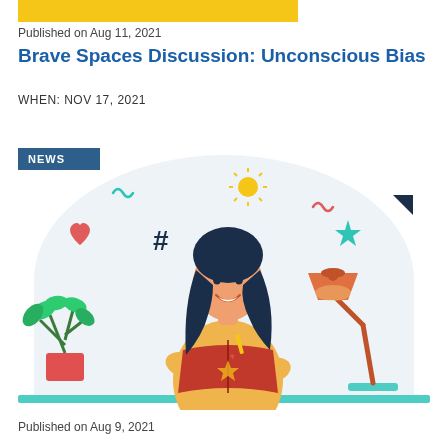[Figure (other): Yellow highlight bar at top of page]
Published on Aug 11, 2021
Brave Spaces Discussion: Unconscious Bias
WHEN: NOV 17, 2021
[Figure (illustration): Illustration of a smiling woman with dark hair reading an open red book at a desk, with a desk lamp, stacked books, a green plant in a red pot, and decorative elements including a heart, hashtag symbol, star, sun, squiggly lines, and triangle in the background on a light blue rounded cloud shape. A blue 'NEWS' badge is overlaid in the upper left of the illustration.]
Published on Aug 9, 2021